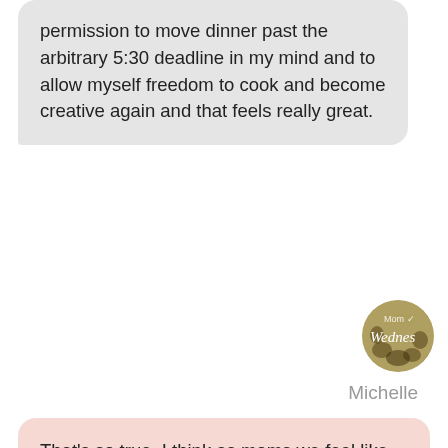permission to move dinner past the arbitrary 5:30 deadline in my mind and to allow myself freedom to cook and become creative again and that feels really great.
[Figure (illustration): Circular avatar image showing 'Mom Wednes' text over a sunflower/floral background]
Michelle
That's so true. I think as moms we feel like we always need to rush to the next thing because there are so many things on our plates, but how great that you have slowed yourself down and found your creativity again.

What is a mom win that you would text your best friend?